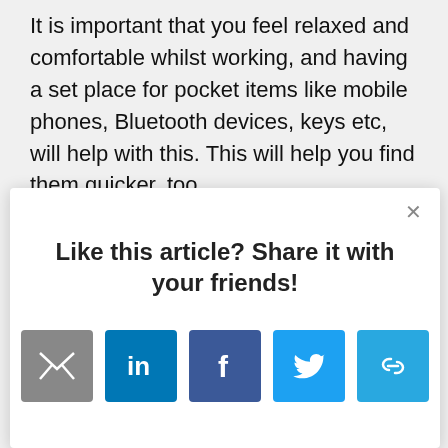It is important that you feel relaxed and comfortable whilst working, and having a set place for pocket items like mobile phones, Bluetooth devices, keys etc, will help with this. This will help you find them quicker, too.
[Figure (screenshot): A modal dialog with the heading 'Like this article? Share it with your friends!' and five social sharing icon buttons: email (grey), LinkedIn (blue), Facebook (dark blue), Twitter (light blue), and a link/copy icon (light blue). A close (×) button is in the top right corner.]